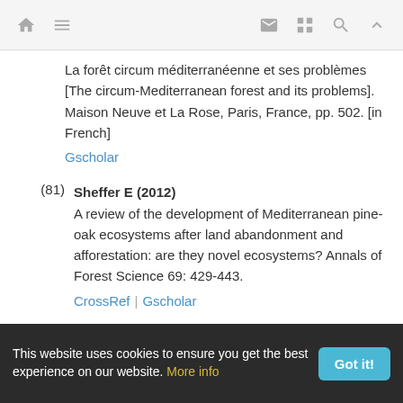Navigation bar with home, menu, mail, grid, search, and up icons
La forêt circum méditerranéenne et ses problèmes [The circum-Mediterranean forest and its problems]. Maison Neuve et La Rose, Paris, France, pp. 502. [in French]
Gscholar
(81) Sheffer E (2012) A review of the development of Mediterranean pine-oak ecosystems after land abandonment and afforestation: are they novel ecosystems? Annals of Forest Science 69: 429-443.
CrossRef | Gscholar
(82) Simberloff D, NunezMA, Ledgard NJ, Pauchard A, Richardson DM, Sarasola M, Van Wilgen BW, Zalba SM,
This website uses cookies to ensure you get the best experience on our website. More info